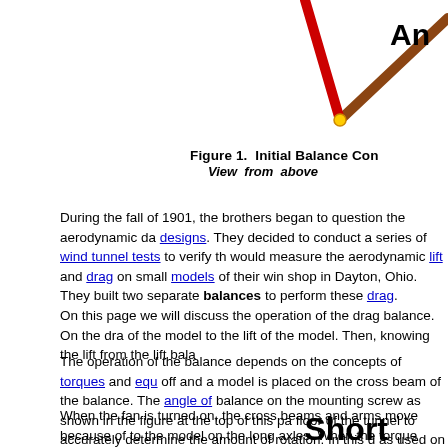[Figure (engineering-diagram): Partial view of a balance diagram showing two arms — a red arm and a brown arm — meeting at a yellow pivot dot point. The diagram is cropped, showing the top portion of the initial balance configuration viewed from above.]
Figure 1.  Initial Balance Con...
View from above
During the fall of 1901, the brothers began to question the aerodynamic da... designs. They decided to conduct a series of wind tunnel tests to verify th... would measure the aerodynamic lift and drag on small models of their win... shop in Dayton, Ohio. They built two separate balances to perform these ... drag.
On this page we will discuss the operation of the drag balance. On the dra... of the model to the lift of the model. Then, knowing the lift from the lift bala...
The operation of the balance depends on the concepts of torques and equ... off and a model is placed on the cross beam of the balance. The angle of ... balance on the mounting screw as shown in the figure at the top of this pa... floor of the tunnel to accurately determine the amount of rotation. In this d... as used on the page describing the design of the drag balance and we are... The fan which pushes air through the tunnel is far to the right of this drawi...
When the fan is turned on, the cross beams and arms move because of to... the model on the long axles. When the torque created by the drag of the m... the lift of the model, the balance no longer moves and assumes the follow...
Short